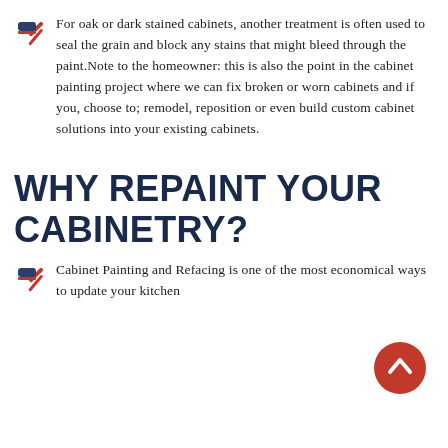For oak or dark stained cabinets, another treatment is often used to seal the grain and block any stains that might bleed through the paint.Note to the homeowner: this is also the point in the cabinet painting project where we can fix broken or worn cabinets and if you, choose to; remodel, reposition or even build custom cabinet solutions into your existing cabinets.
WHY REPAINT YOUR CABINETRY?
Cabinet Painting and Refacing is one of the most economical ways to update your kitchen